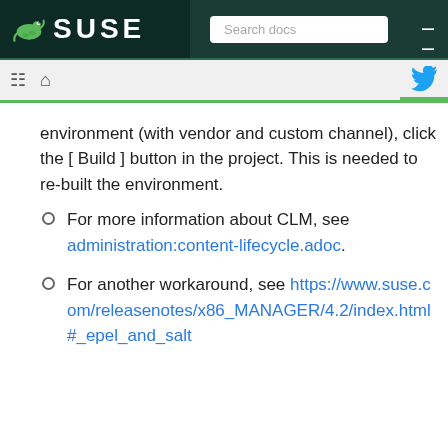SUSE — Search docs
To get the latest patches into the CLM environment (with vendor and custom channel), click the [ Build ] button in the project. This is needed to re-built the environment.
For more information about CLM, see administration:content-lifecycle.adoc.
For another workaround, see https://www.suse.com/releasenotes/x86_MANAGER/4.2/index.html#_epel_and_salt